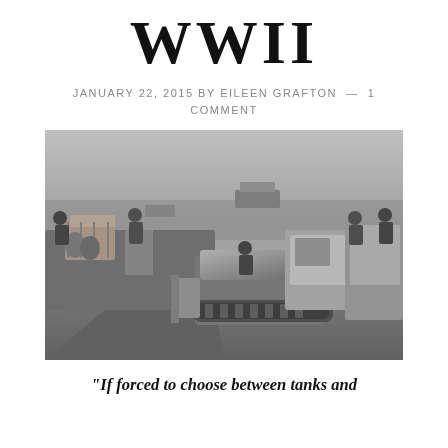WWII
JANUARY 22, 2015 BY EILEEN GRAFTON — 1 COMMENT
[Figure (photo): Black and white WWII photograph showing military landing craft and soldiers unloading a bulldozer/tracked vehicle into shallow water, with supply crates and other vessels visible in the background.]
“If forced to choose between tanks and